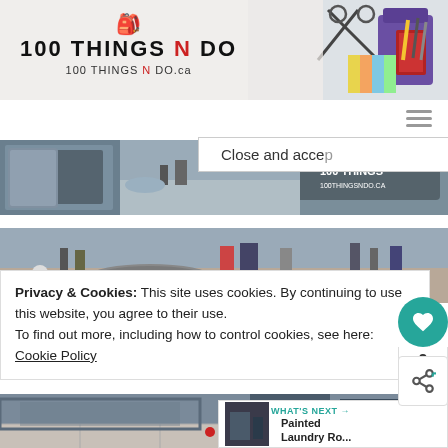[Figure (screenshot): 100 Things N Do website header banner with logo on left and craft supplies photo on right]
[Figure (photo): Gray painted cabinet/room photo with 100 Things N Do watermark overlay]
[Figure (photo): Kitchen counter/sink area with various items]
Privacy & Cookies: This site uses cookies. By continuing to use this website, you agree to their use.
To find out more, including how to control cookies, see here: Cookie Policy
Close and accept
2
WHAT'S NEXT → Painted Laundry Ro...
[Figure (photo): Bottom portion of laundry room or storage area photo]